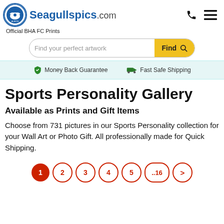Seagullspics.com — Official BHA FC Prints
[Figure (logo): Seagullspics.com logo with Brighton & Hove Albion FC circular badge and site name]
Official BHA FC Prints
Find your perfect artwork — Find button
Money Back Guarantee   Fast Safe Shipping
Sports Personality Gallery
Available as Prints and Gift Items
Choose from 731 pictures in our Sports Personality collection for your Wall Art or Photo Gift. All professionally made for Quick Shipping.
Pagination: 1 2 3 4 5 ...16 >